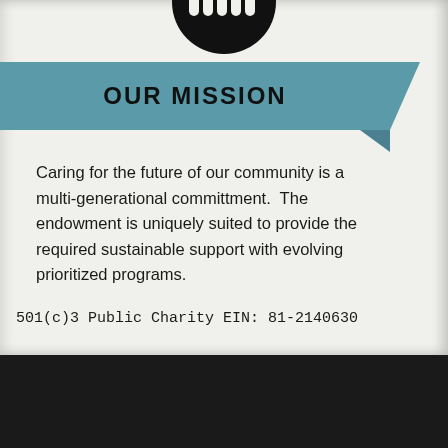[Figure (logo): Black circle logo with hand/fingers silhouette icon at top of page]
OUR MISSION
Caring for the future of our community is a multi-generational committment.  The endowment is uniquely suited to provide the required sustainable support with evolving prioritized programs.
501(c)3 Public Charity EIN: 81-2140630
Call us:
562-725-7127
Email us:
info@socalendow.org